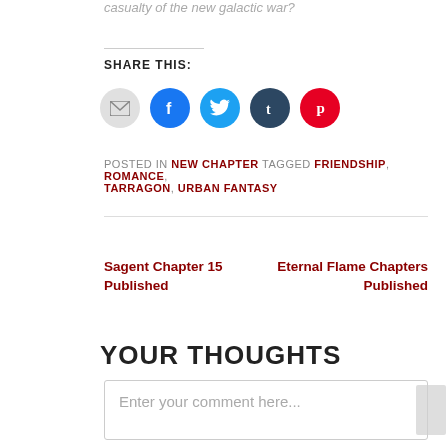casualty of the new galactic war?
SHARE THIS:
[Figure (other): Social sharing icons: email (grey), Facebook (blue), Twitter (cyan), Tumblr (dark), Pinterest (red)]
POSTED IN NEW CHAPTER TAGGED FRIENDSHIP, ROMANCE, TARRAGON, URBAN FANTASY
Sagent Chapter 15 Published
Eternal Flame Chapters Published
YOUR THOUGHTS
Enter your comment here...